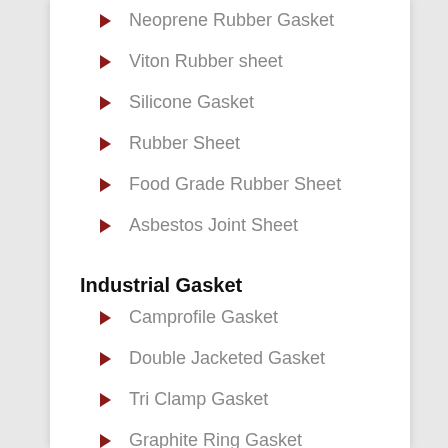Neoprene Rubber Gasket
Viton Rubber sheet
Silicone Gasket
Rubber Sheet
Food Grade Rubber Sheet
Asbestos Joint Sheet
Industrial Gasket
Camprofile Gasket
Double Jacketed Gasket
Tri Clamp Gasket
Graphite Ring Gasket
Copper Gasket